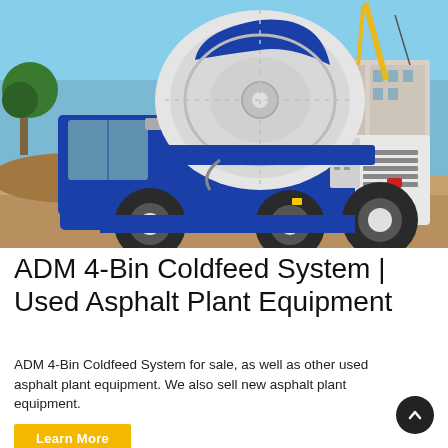[Figure (photo): A blue and white self-loading concrete mixer truck at a construction site, with a crane and buildings visible in the background. The truck has a large rotating drum mixer on top and large tires.]
ADM 4-Bin Coldfeed System | Used Asphalt Plant Equipment
ADM 4-Bin Coldfeed System for sale, as well as other used asphalt plant equipment. We also sell new asphalt plant equipment.
Learn More